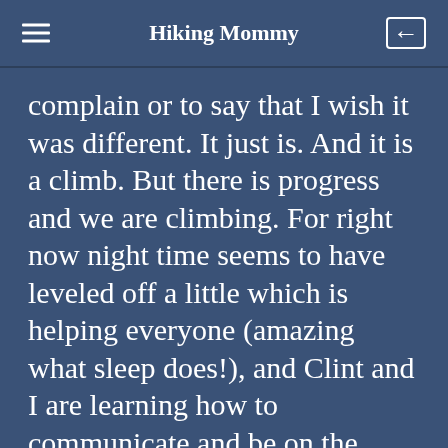Hiking Mommy
complain or to say that I wish it was different. It just is. And it is a climb. But there is progress and we are climbing. For right now night time seems to have leveled off a little which is helping everyone (amazing what sleep does!), and Clint and I are learning how to communicate and be on the same team, even